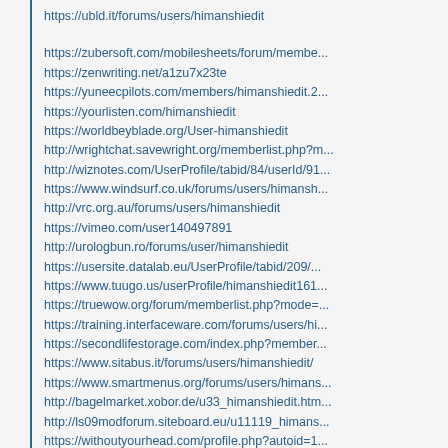https://ubld.it/forums/users/himanshiedit
https://zubersoft.com/mobilesheets/forum/membe...
https://zenwriting.net/a1zu7x23te
https://yuneecpilots.com/members/himanshiedit.2...
https://yourlisten.com/himanshiedit
https://worldbeyblade.org/User-himanshiedit
http://wrightchat.savewright.org/memberlist.php?m...
http://wiznotes.com/UserProfile/tabid/84/userId/91...
https://www.windsurf.co.uk/forums/users/himansh...
http://vrc.org.au/forums/users/himanshiedit
https://vimeo.com/user140497891
http://urologbun.ro/forums/user/himanshiedit
https://usersite.datalab.eu/UserProfile/tabid/209/...
https://www.tuugo.us/userProfile/himanshiedit161...
https://truewow.org/forum/memberlist.php?mode=...
https://training.interfaceware.com/forums/users/hi...
https://secondlifestorage.com/index.php?member...
https://www.sitabus.it/forums/users/himanshiedit/
https://www.smartmenus.org/forums/users/himans...
http://bagelmarket.xobor.de/u33_himanshiedit.htm...
http://ls09modforum.siteboard.eu/u11119_himans...
https://withoutyourhead.com/profile.php?autoid=1...
http://www.texasbbqforum.com/memberlist.php?...